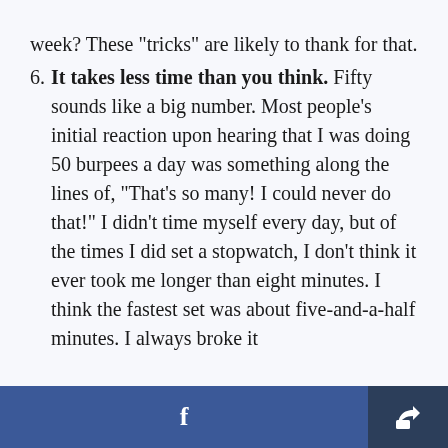week? These "tricks" are likely to thank for that.
6. It takes less time than you think. Fifty sounds like a big number. Most people's initial reaction upon hearing that I was doing 50 burpees a day was something along the lines of, "That's so many! I could never do that!" I didn't time myself every day, but of the times I did set a stopwatch, I don't think it ever took me longer than eight minutes. I think the fastest set was about five-and-a-half minutes. I always broke it
f [share]